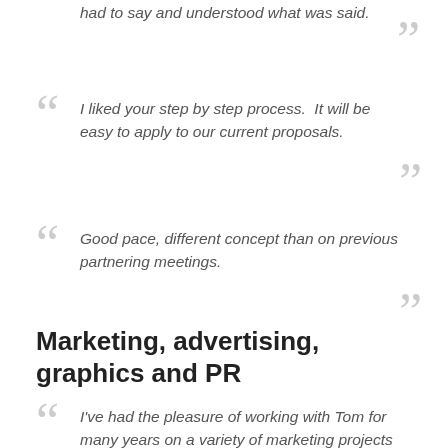had to say and understood what was said.
I liked your step by step process. It will be easy to apply to our current proposals.
Good pace, different concept than on previous partnering meetings.
Marketing, advertising, graphics and PR
I've had the pleasure of working with Tom for many years on a variety of marketing projects and I've always been impressed